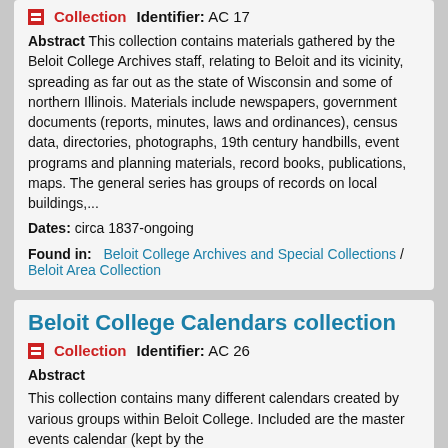Collection   Identifier: AC 17
Abstract This collection contains materials gathered by the Beloit College Archives staff, relating to Beloit and its vicinity, spreading as far out as the state of Wisconsin and some of northern Illinois. Materials include newspapers, government documents (reports, minutes, laws and ordinances), census data, directories, photographs, 19th century handbills, event programs and planning materials, record books, publications, maps. The general series has groups of records on local buildings,...
Dates: circa 1837-ongoing
Found in:   Beloit College Archives and Special Collections / Beloit Area Collection
Beloit College Calendars collection
Collection   Identifier: AC 26
Abstract
This collection contains many different calendars created by various groups within Beloit College. Included are the master events calendar (kept by the